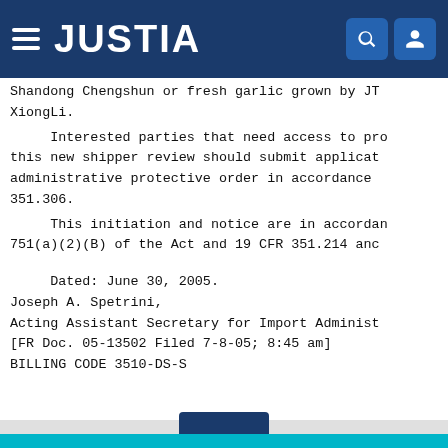JUSTIA
Shandong Chengshun or fresh garlic grown by JT XiongLi.
Interested parties that need access to pro this new shipper review should submit applicat administrative protective order in accordance 351.306.
This initiation and notice are in accordan 751(a)(2)(B) of the Act and 19 CFR 351.214 anc
Dated: June 30, 2005.
Joseph A. Spetrini,
Acting Assistant Secretary for Import Administ
[FR Doc. 05-13502 Filed 7-8-05; 8:45 am]
BILLING CODE 3510-DS-S